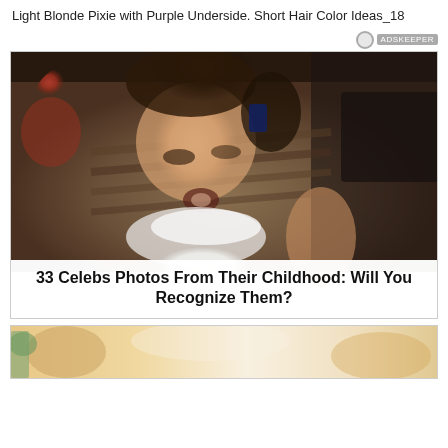Light Blonde Pixie with Purple Underside. Short Hair Color Ideas_18
[Figure (photo): Advertisement card showing a childhood photo of a young girl with dark hair wearing a white frilly top, mouth open, looking down. Below the photo is text overlay.]
33 Celebs Photos From Their Childhood: Will You Recognize Them?
[Figure (photo): Partial view of a second advertisement card showing what appears to be legs/lower body, cropped at the bottom of the page.]